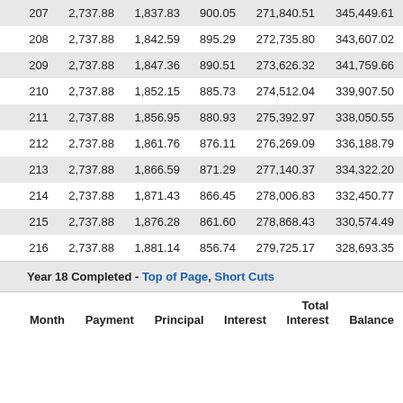| Month | Payment | Principal | Interest | Total Interest | Balance |
| --- | --- | --- | --- | --- | --- |
| 207 | 2,737.88 | 1,837.83 | 900.05 | 271,840.51 | 345,449.61 |
| 208 | 2,737.88 | 1,842.59 | 895.29 | 272,735.80 | 343,607.02 |
| 209 | 2,737.88 | 1,847.36 | 890.51 | 273,626.32 | 341,759.66 |
| 210 | 2,737.88 | 1,852.15 | 885.73 | 274,512.04 | 339,907.50 |
| 211 | 2,737.88 | 1,856.95 | 880.93 | 275,392.97 | 338,050.55 |
| 212 | 2,737.88 | 1,861.76 | 876.11 | 276,269.09 | 336,188.79 |
| 213 | 2,737.88 | 1,866.59 | 871.29 | 277,140.37 | 334,322.20 |
| 214 | 2,737.88 | 1,871.43 | 866.45 | 278,006.83 | 332,450.77 |
| 215 | 2,737.88 | 1,876.28 | 861.60 | 278,868.43 | 330,574.49 |
| 216 | 2,737.88 | 1,881.14 | 856.74 | 279,725.17 | 328,693.35 |
Year 18 Completed - Top of Page, Short Cuts
| Month | Payment | Principal | Interest | Total Interest | Balance |
| --- | --- | --- | --- | --- | --- |